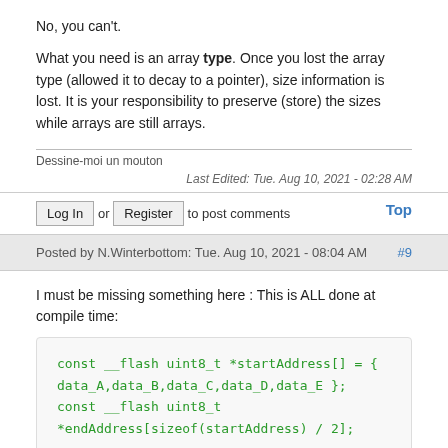No, you can't.
What you need is an array type. Once you lost the array type (allowed it to decay to a pointer), size information is lost. It is your responsibility to preserve (store) the sizes while arrays are still arrays.
Dessine-moi un mouton
Last Edited: Tue. Aug 10, 2021 - 02:28 AM
Log In or Register to post comments
Top
Posted by N.Winterbottom: Tue. Aug 10, 2021 - 08:04 AM
#9
I must be missing something here : This is ALL done at compile time:
[Figure (screenshot): Code block showing C code: const __flash uint8_t *startAddress[] = { data_A,data_B,data_C,data_D,data_E }; const __flash uint8_t *endAddress[sizeof(startAddress) / 2]; int main(void)]